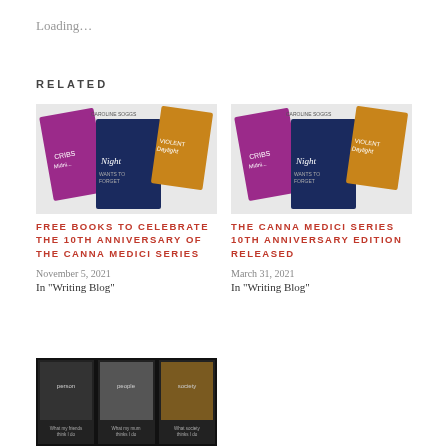Loading...
RELATED
[Figure (photo): Book covers for the Canna Medici series including Night, Violent Daylight, and Crimson Midnight]
FREE BOOKS TO CELEBRATE THE 10TH ANNIVERSARY OF THE CANNA MEDICI SERIES
November 5, 2021
In "Writing Blog"
[Figure (photo): Book covers for the Canna Medici series including Night, Violent Daylight, and Crimson Midnight]
THE CANNA MEDICI SERIES 10TH ANNIVERSARY EDITION RELEASED
March 31, 2021
In "Writing Blog"
[Figure (photo): Dark collage of three images with captions: What my friends think I do, What my mum thinks I do, What society thinks I do]